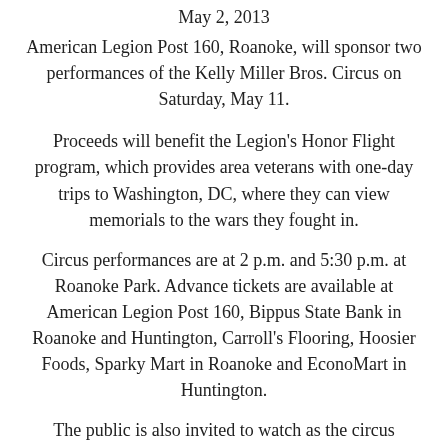May 2, 2013
American Legion Post 160, Roanoke, will sponsor two performances of the Kelly Miller Bros. Circus on Saturday, May 11.
Proceeds will benefit the Legion's Honor Flight program, which provides area veterans with one-day trips to Washington, DC, where they can view memorials to the wars they fought in.
Circus performances are at 2 p.m. and 5:30 p.m. at Roanoke Park. Advance tickets are available at American Legion Post 160, Bippus State Bank in Roanoke and Huntington, Carroll's Flooring, Hoosier Foods, Sparky Mart in Roanoke and EconoMart in Huntington.
The public is also invited to watch as the circus elephants raise the tent at about 9 a.m. on May 11. There is no charge to watch the tent-raising. After the first of the four poles is in place, the public will be invited inside the tent to watch the elephants and a human crew complete the task. A circus veteran will be on hand to answer questions and talk about